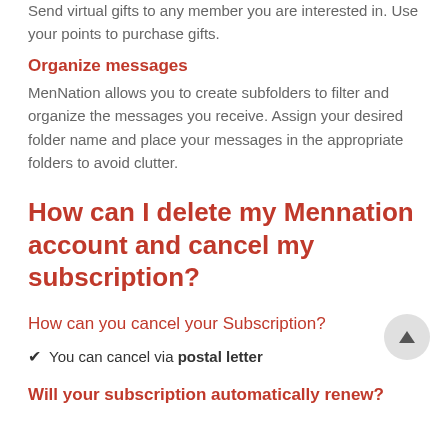Send virtual gifts to any member you are interested in. Use your points to purchase gifts.
Organize messages
MenNation allows you to create subfolders to filter and organize the messages you receive. Assign your desired folder name and place your messages in the appropriate folders to avoid clutter.
How can I delete my Mennation account and cancel my subscription?
How can you cancel your Subscription?
You can cancel via postal letter
Will your subscription automatically renew?